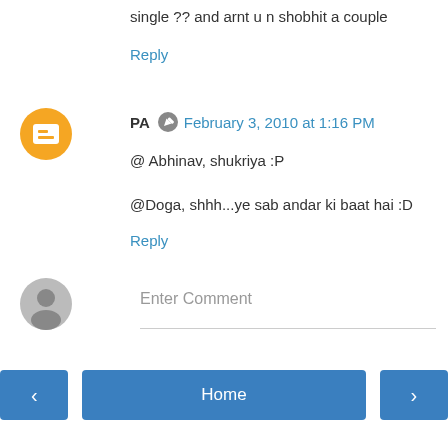single ?? and arnt u n shobhit a couple
Reply
PA  February 3, 2010 at 1:16 PM
@ Abhinav, shukriya :P
@Doga, shhh...ye sab andar ki baat hai :D
Reply
Enter Comment
Home
View web version
Powered by Blogger.